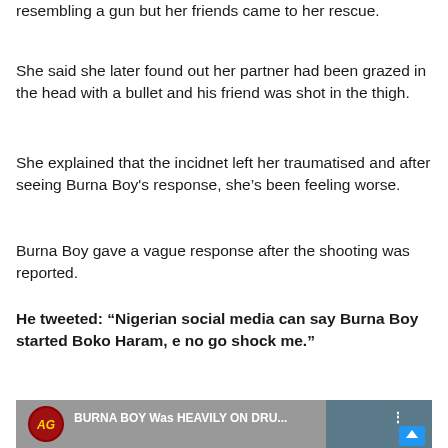resembling a gun but her friends came to her rescue.
She said she later found out her partner had been grazed in the head with a bullet and his friend was shot in the thigh.
She explained that the incidnet left her traumatised and after seeing Burna Boy's response, she's been feeling worse.
Burna Boy gave a vague response after the shooting was reported.
He tweeted: “Nigerian social media can say Burna Boy started Boko Haram, e no go shock me.”
[Figure (screenshot): YouTube thumbnail showing a video titled 'BURNA BOY Was HEAVILY ON DRU...' with a face visible and channel logo on left.]